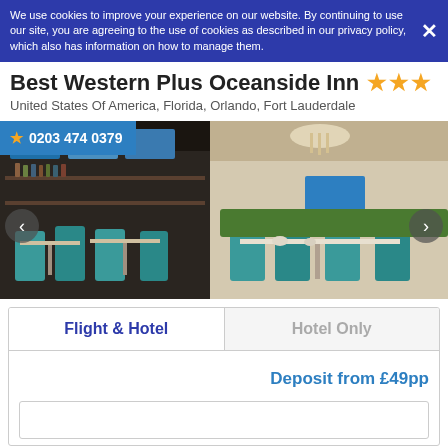We use cookies to improve your experience on our website. By continuing to use our site, you are agreeing to the use of cookies as described in our privacy policy, which also has information on how to manage them.
Best Western Plus Oceanside Inn ★★★
United States Of America, Florida, Orlando, Fort Lauderdale
★ 0203 474 0379
[Figure (photo): Interior photo of hotel bar and restaurant area with teal/turquoise chairs and tables, bar with TV screens in background, chandelier lighting]
Flight & Hotel
Hotel Only
Deposit from £49pp